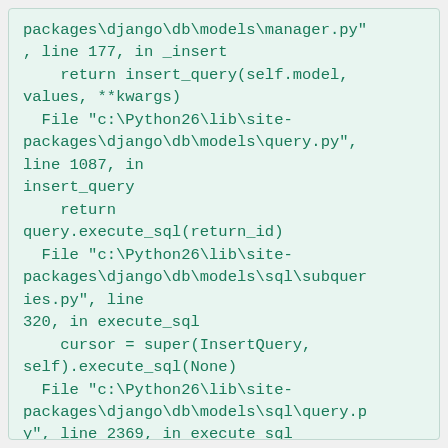packages\django\db\models\manager.py", line 177, in _insert
    return insert_query(self.model, values, **kwargs)
  File "c:\Python26\lib\site-packages\django\db\models\query.py", line 1087, in
insert_query
    return
query.execute_sql(return_id)
  File "c:\Python26\lib\site-packages\django\db\models\sql\subqueries.py", line
320, in execute_sql
    cursor = super(InsertQuery, self).execute_sql(None)
  File "c:\Python26\lib\site-packages\django\db\models\sql\query.py", line 2369, in execute_sql
    cursor.execute(sql, params)